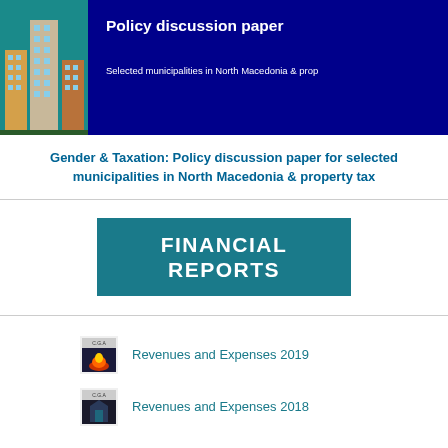[Figure (illustration): Cover image with dark blue background showing buildings illustration on the left and white bold text 'Policy discussion paper' and subtitle 'Selected municipalities in North Macedonia & prop...' on the right]
Gender & Taxation: Policy discussion paper for selected municipalities in North Macedonia & property tax
[Figure (other): Teal banner with white bold text reading 'FINANCIAL REPORTS']
Revenues and Expenses 2019
Revenues and Expenses 2018